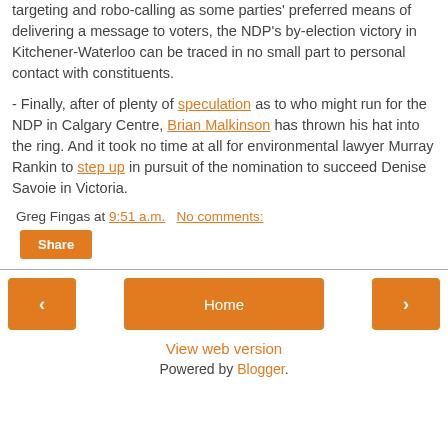targeting and robo-calling as some parties' preferred means of delivering a message to voters, the NDP's by-election victory in Kitchener-Waterloo can be traced in no small part to personal contact with constituents.
- Finally, after of plenty of speculation as to who might run for the NDP in Calgary Centre, Brian Malkinson has thrown his hat into the ring. And it took no time at all for environmental lawyer Murray Rankin to step up in pursuit of the nomination to succeed Denise Savoie in Victoria.
Greg Fingas at 9:51 a.m.   No comments:
Share
< Home > View web version Powered by Blogger.